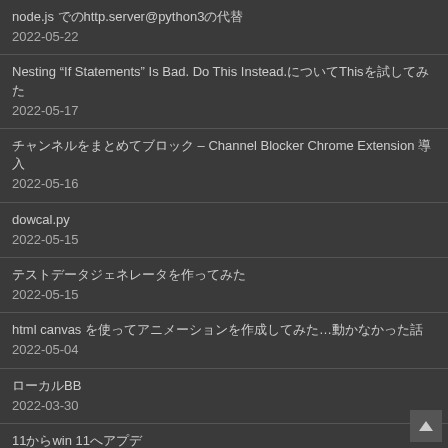node.js でのhttp.server@python3の代替
2022-05-22
Nesting “If Statements” Is Bad. Do This Instead.についてThisを試してみた
2022-05-17
チャンネルをまとめてブロック – Channel Blocker Chrome Extension 導入
2022-05-16
dowcal.py
2022-05-15
テストデータジェネレータを作ってみた
2022-05-15
html canvas を使ってアニメーションを作成してみた…動かなかった話
2022-05-04
ローカルBB
2022-03-30
11からwin 11へアプデ
2022-03-18
自作PC11インチの話
2022-03-14